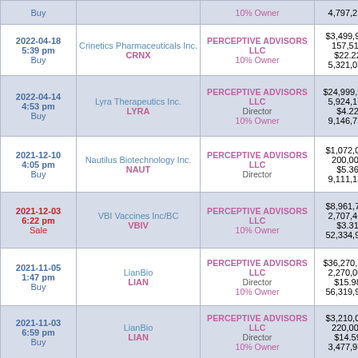| Date/Time/Action | Company/Ticker | Insider/Role | Values |
| --- | --- | --- | --- |
| Buy |  | 10% Owner | 4,797,278 |
| 2022-04-18
5:39 pm
Buy | Crinetics Pharmaceuticals Inc.
CRNX | PERCEPTIVE ADVISORS LLC
10% Owner | $3,499,983
157,515
$22.22
5,321,032 |
| 2022-04-14
4:53 pm
Buy | Lyra Therapeutics Inc.
LYRA | PERCEPTIVE ADVISORS LLC
Director
10% Owner | $24,999,997
5,924,170
$4.22
9,146,731 |
| 2021-12-10
4:05 pm
Buy | Nautilus Biotechnology Inc.
NAUT | PERCEPTIVE ADVISORS LLC
Director | $1,072,000
200,000
$5.36
9,111,151 |
| 2021-12-03
6:22 pm
Sale | VBI Vaccines Inc/BC
VBIV | PERCEPTIVE ADVISORS LLC
10% Owner | $8,961,703
2,707,463
$3.31
52,334,993 |
| 2021-11-05
1:47 pm
Buy | LianBio
LIAN | PERCEPTIVE ADVISORS LLC
Director
10% Owner | $36,270,200
2,270,000
$15.98
56,319,960 |
| 2021-11-03
6:59 pm
Buy | LianBio
LIAN | PERCEPTIVE ADVISORS LLC
Director
10% Owner | $3,210,000
220,000
$14.59
3,477,985 |